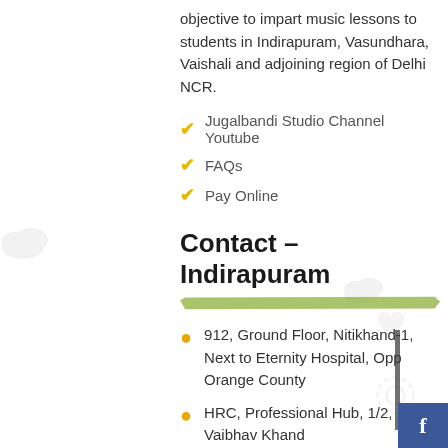objective to impart music lessons to students in Indirapuram, Vasundhara, Vaishali and adjoining region of Delhi NCR.
Jugalbandi Studio Channel Youtube
FAQs
Pay Online
Contact – Indirapuram
912, Ground Floor, Nitikhand-1, Next to Eternity Hospital, Opp Orange County
HRC, Professional Hub, 1/2, Vaibhav Khand
+91-9971373538, 9555203863, 0120-4127694